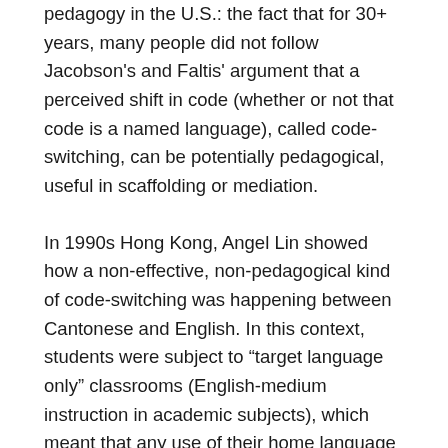pedagogy in the U.S.: the fact that for 30+ years, many people did not follow Jacobson's and Faltis' argument that a perceived shift in code (whether or not that code is a named language), called code-switching, can be potentially pedagogical, useful in scaffolding or mediation.
In 1990s Hong Kong, Angel Lin showed how a non-effective, non-pedagogical kind of code-switching was happening between Cantonese and English. In this context, students were subject to “target language only” classrooms (English-medium instruction in academic subjects), which meant that any use of their home language (Cantonese) tended to be minimal, “only when necessary,” because it was seen by society as sloppy and unprofessional. That is, teachers and students felt guilty and bad about themselves